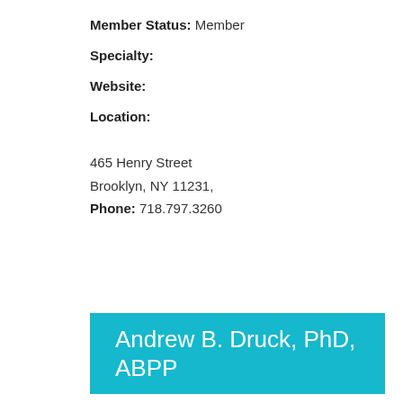Member Status: Member
Specialty:
Website:
Location:
465 Henry Street
Brooklyn, NY 11231,
Phone: 718.797.3260
Andrew B. Druck, PhD, ABPP